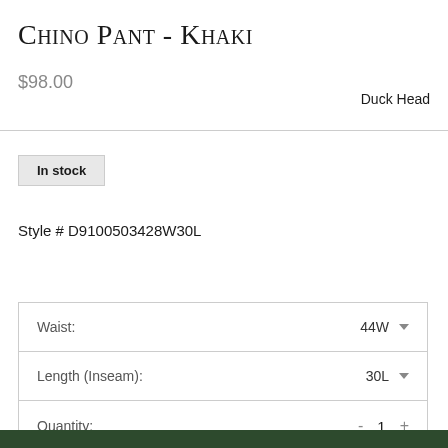Chino Pant - Khaki
$98.00
Duck Head
In stock
Style # D9100503428W30L
| Waist: | 44W ▾ |
| Length (Inseam): | 30L ▾ |
| Quantity: | - 1 + |